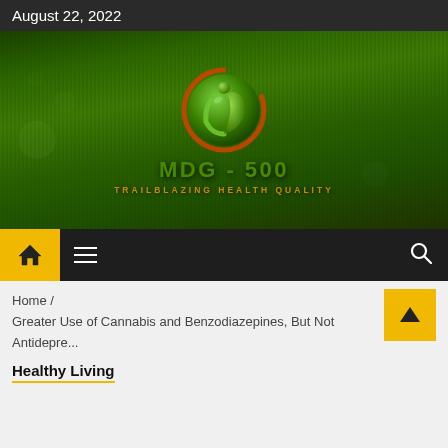August 22, 2022
[Figure (logo): MDG-500 logo with green circular emblem featuring a stylized person with a leaf, on a green grass bokeh background. Text reads MDG - 500 and TRAILBLAZING HEALTH QUALITY.]
Home / Greater Use of Cannabis and Benzodiazepines, But Not Antidepre...
Healthy Living